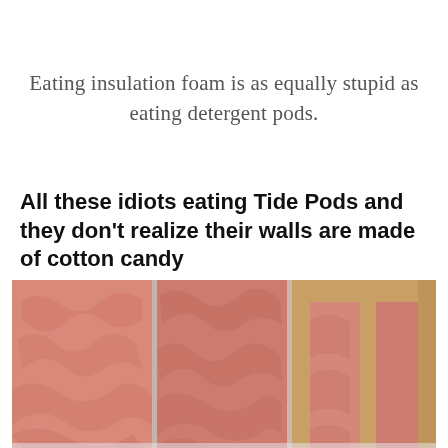Eating insulation foam is as equally stupid as eating detergent pods.
[Figure (infographic): Social media meme with bold headline text reading 'All these idiots eating Tide Pods and they don't realize their walls are made of cotton candy' above a photograph of pink fiberglass insulation installed between wooden wall studs in a building frame.]